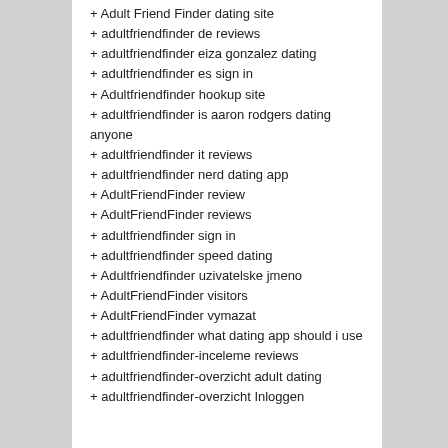+ Adult Friend Finder dating site
+ adultfriendfinder de reviews
+ adultfriendfinder eiza gonzalez dating
+ adultfriendfinder es sign in
+ Adultfriendfinder hookup site
+ adultfriendfinder is aaron rodgers dating anyone
+ adultfriendfinder it reviews
+ adultfriendfinder nerd dating app
+ AdultFriendFinder review
+ AdultFriendFinder reviews
+ adultfriendfinder sign in
+ adultfriendfinder speed dating
+ Adultfriendfinder uzivatelske jmeno
+ AdultFriendFinder visitors
+ AdultFriendFinder vymazat
+ adultfriendfinder what dating app should i use
+ adultfriendfinder-inceleme reviews
+ adultfriendfinder-overzicht adult dating
+ adultfriendfinder-overzicht Inloggen